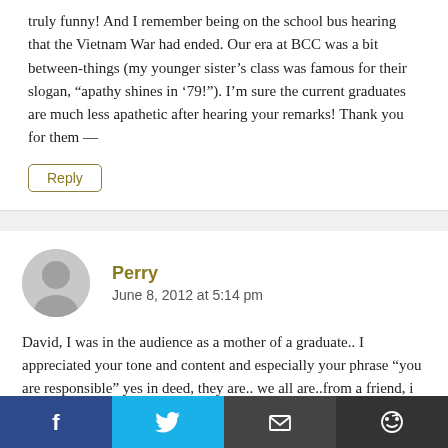truly funny! And I remember being on the school bus hearing that the Vietnam War had ended. Our era at BCC was a bit between-things (my younger sister’s class was famous for their slogan, “apathy shines in ’79!”). I’m sure the current graduates are much less apathetic after hearing your remarks! Thank you for them —
Reply
Perry
June 8, 2012 at 5:14 pm
David, I was in the audience as a mother of a graduate.. I appreciated your tone and content and especially your phrase “you are responsible” yes in deed, they are.. we all are..from a friend, i later got the gist of the Holy Cross